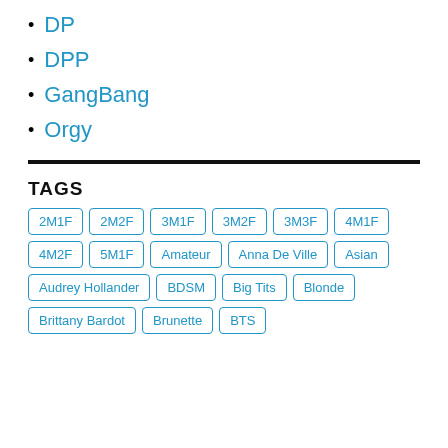DP
DPP
GangBang
Orgy
TAGS
2M1F, 2M2F, 3M1F, 3M2F, 3M3F, 4M1F, 4M2F, 5M1F, Amateur, Anna De Ville, Asian, Audrey Hollander, BDSM, Big Tits, Blonde, Brittany Bardot, Brunette, BTS